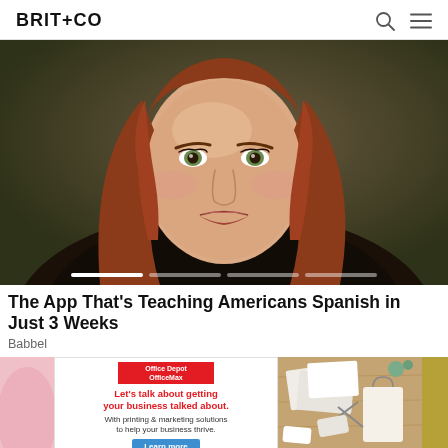BRIT+CO
[Figure (photo): Close-up portrait of a young woman with long reddish-brown hair and green eyes against a dark olive/brown background. Slider navigation dots are visible at the bottom.]
The App That's Teaching Americans Spanish in Just 3 Weeks
Babbel
[Figure (photo): Advertisement from Office Depot OfficeMax with red logo, red headline 'Let’s talk about getting your business talked about.', body text 'With printing & marketing solutions to help your business thrive.', and a blue 'Learn more' button]
[Figure (photo): Overhead photo of craft/stationery items on a wooden table surface including envelopes, cards, scissors, and tags]